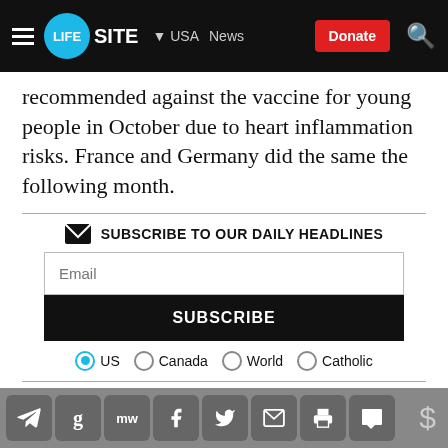LIFESITE | USA | News | Donate
recommended against the vaccine for young people in October due to heart inflammation risks. France and Germany did the same the following month.
SUBSCRIBE TO OUR DAILY HEADLINES
Norway halted second COVID shots for adolescents